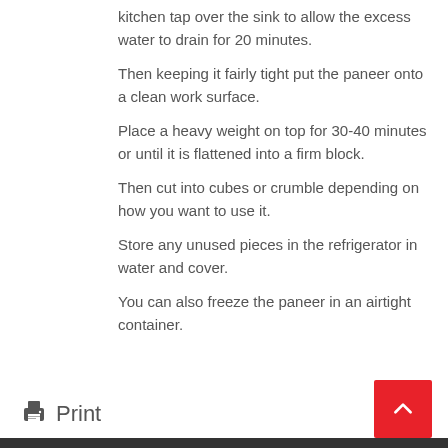kitchen tap over the sink to allow the excess water to drain for 20 minutes.
Then keeping it fairly tight put the paneer onto a clean work surface.
Place a heavy weight on top for 30-40 minutes or until it is flattened into a firm block.
Then cut into cubes or crumble depending on how you want to use it.
Store any unused pieces in the refrigerator in water and cover.
You can also freeze the paneer in an airtight container.
Print